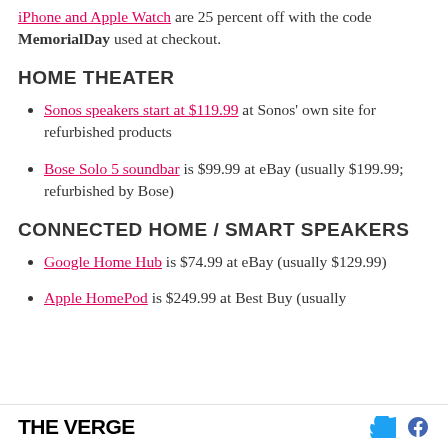iPhone and Apple Watch are 25 percent off with the code MemorialDay used at checkout.
HOME THEATER
Sonos speakers start at $119.99 at Sonos' own site for refurbished products
Bose Solo 5 soundbar is $99.99 at eBay (usually $199.99; refurbished by Bose)
CONNECTED HOME / SMART SPEAKERS
Google Home Hub is $74.99 at eBay (usually $129.99)
Apple HomePod is $249.99 at Best Buy (usually
THE VERGE